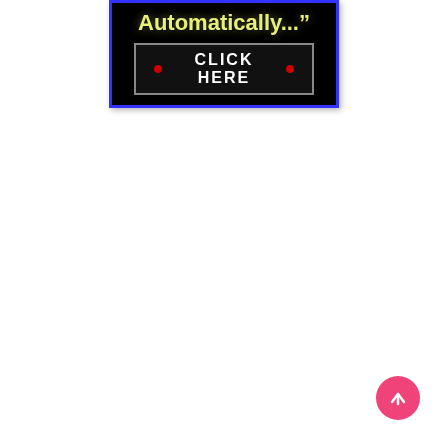[Figure (screenshot): Dark banner advertisement with blue border. Shows text 'Automatically..."' in yellow-green bold font on black background, with a 'CLICK HERE' button below featuring red dots on either side of white text on dark background.]